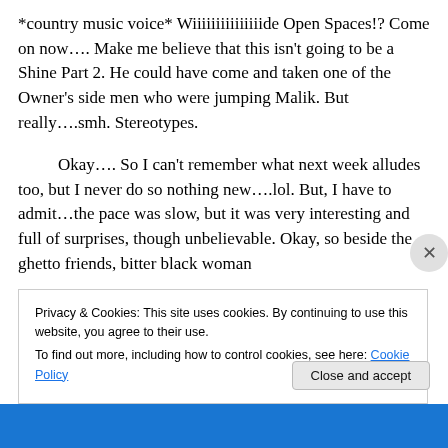*country music voice* Wiiiiiiiiiiiiiiide Open Spaces!? Come on now…. Make me believe that this isn't going to be a Shine Part 2. He could have come and taken one of the Owner's side men who were jumping Malik. But really….smh. Stereotypes.
Okay…. So I can't remember what next week alludes too, but I never do so nothing new….lol. But, I have to admit…the pace was slow, but it was very interesting and full of surprises, though unbelievable. Okay, so beside the ghetto friends, bitter black woman
Privacy & Cookies: This site uses cookies. By continuing to use this website, you agree to their use.
To find out more, including how to control cookies, see here: Cookie Policy
Close and accept